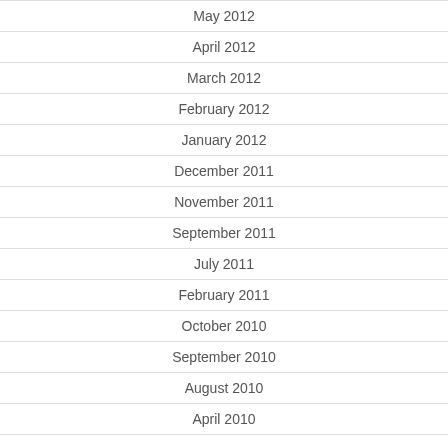May 2012
April 2012
March 2012
February 2012
January 2012
December 2011
November 2011
September 2011
July 2011
February 2011
October 2010
September 2010
August 2010
April 2010